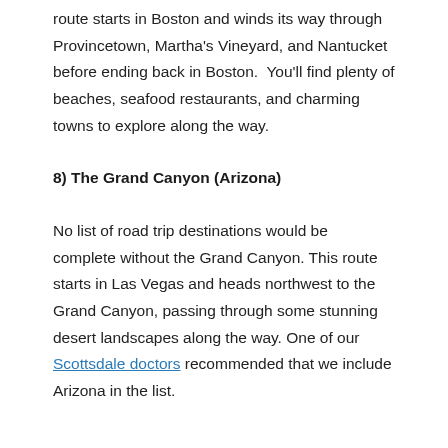route starts in Boston and winds its way through Provincetown, Martha's Vineyard, and Nantucket before ending back in Boston.  You'll find plenty of beaches, seafood restaurants, and charming towns to explore along the way.
8) The Grand Canyon (Arizona)
No list of road trip destinations would be complete without the Grand Canyon. This route starts in Las Vegas and heads northwest to the Grand Canyon, passing through some stunning desert landscapes along the way. One of our Scottsdale doctors recommended that we include Arizona in the list.